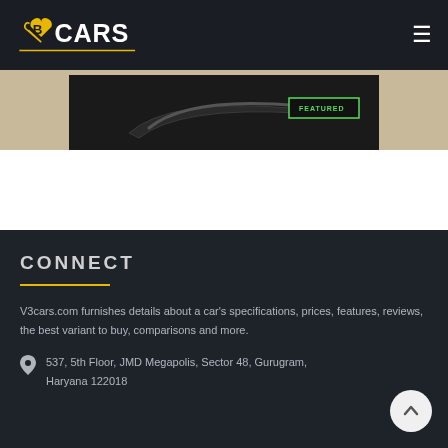V3CARS
[Figure (photo): Partial view of a car part on a sandy/beige background, with a dark component visible and a green badge label on the right]
CONNECT
V3cars.com furnishes details about a car's specifications, prices, features, reviews, the best variant to buy, comparisons and more.
537, 5th Floor, JMD Megapolis, Sector 48, Gurugram, Haryana 122018